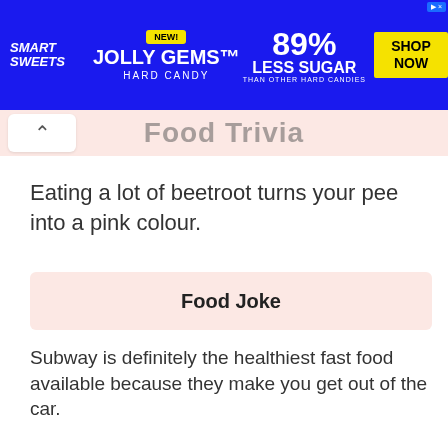[Figure (photo): SmartSweets Jolly Gems Hard Candy advertisement banner. Blue background with candy images, yellow NEW badge, 89% Less Sugar text, and yellow SHOP NOW button.]
Food Trivia
Eating a lot of beetroot turns your pee into a pink colour.
Food Joke
Subway is definitely the healthiest fast food available because they make you get out of the car.
Popular Recipes